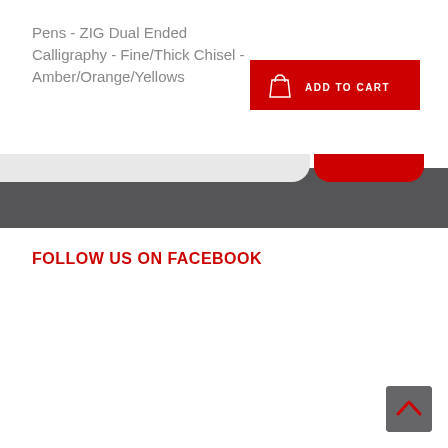Pens - ZIG Dual Ended Calligraphy - Fine/Thick Chisel - Amber/Orange/Yellows
[Figure (screenshot): Red 'ADD TO CART' button with a shopping bag icon]
FOLLOW US ON FACEBOOK